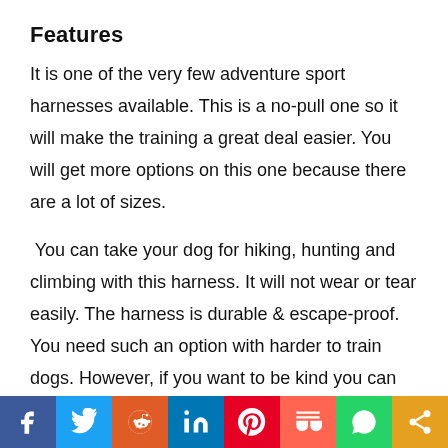Features
It is one of the very few adventure sport harnesses available. This is a no-pull one so it will make the training a great deal easier. You will get more options on this one because there are a lot of sizes.
You can take your dog for hiking, hunting and climbing with this harness. It will not wear or tear easily. The harness is durable & escape-proof. You need such an option with harder to train dogs. However, if you want to be kind you can use
[Figure (other): Social media share bar with icons for Facebook, Twitter, Reddit, LinkedIn, Pinterest, Mix, WhatsApp, and Share]